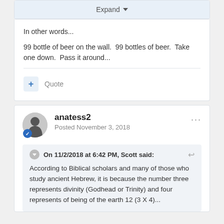[Figure (screenshot): Expand button with dropdown arrow in a light blue bar at top of comment card]
In other words...
99 bottle of beer on the wall.  99 bottles of beer.  Take one down.  Pass it around...
[Figure (screenshot): Quote button with plus icon]
anatess2
Posted November 3, 2018
On 11/2/2018 at 6:42 PM, Scott said:
According to Biblical scholars and many of those who study ancient Hebrew, it is because the number three represents divinity (Godhead or Trinity) and four represents of being of the earth 12 (3 X 4)...